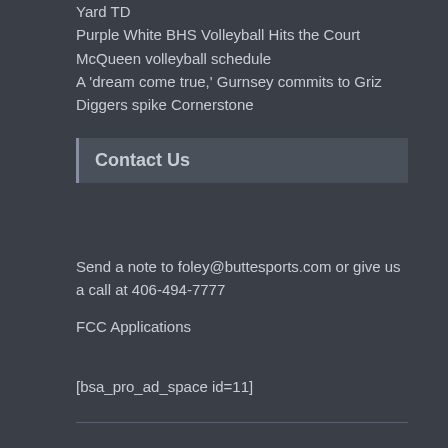Yard TD
Purple White BHS Volleyball Hits the Court
McQueen volleyball schedule
A ‘dream come true,’ Gurnsey commits to Griz
Diggers spike Cornerstone
Contact Us
Send a note to foley@buttesports.com or give us a call at 406-494-7777
FCC Applications
[bsa_pro_ad_space id=11]